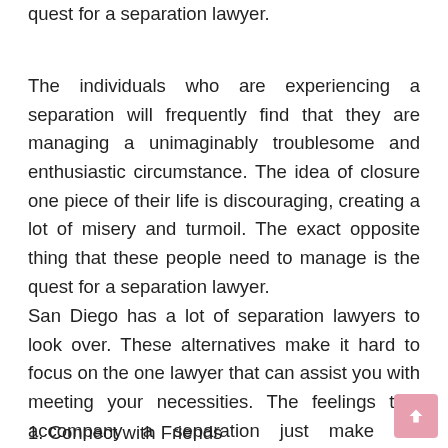quest for a separation lawyer.
The individuals who are experiencing a separation will frequently find that they are managing a unimaginably troublesome and enthusiastic circumstance. The idea of closure one piece of their life is discouraging, creating a lot of misery and turmoil. The exact opposite thing that these people need to manage is the quest for a separation lawyer.
San Diego has a lot of separation lawyers to look over. These alternatives make it hard to focus on the one lawyer that can assist you with meeting your necessities. The feelings that accompany a separation just make the procedure that a lot harder to manage. These five hints will assist you with finding a separation legal counselor, making it simpler for you to make the strides important to proceed onward with your life.
1. Connect with Friends